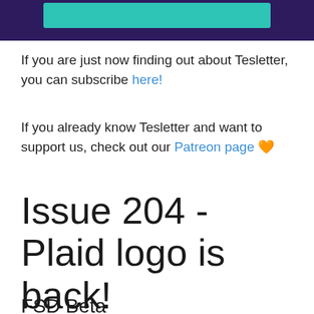[Figure (other): Dark purple header bar with a teal/turquoise button element]
If you are just now finding out about Tesletter, you can subscribe here!
If you already know Tesletter and want to support us, check out our Patreon page 🧡
Issue 204 - Plaid logo is back!
FSD Beta